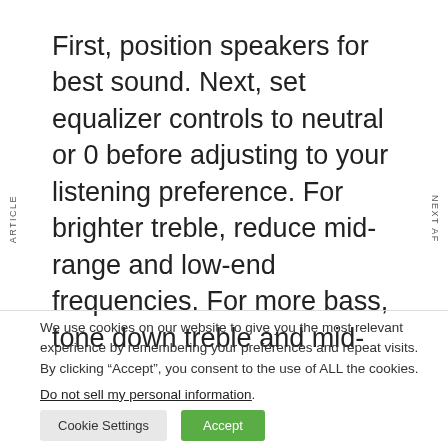First, position speakers for best sound. Next, set equalizer controls to neutral or 0 before adjusting to your listening preference. For brighter treble, reduce mid-range and low-end frequencies. For more bass, tone down treble and mid-
ARTICLE
NEXT AF
We use cookies on our website to give you the most relevant experience by remembering your preferences and repeat visits. By clicking “Accept”, you consent to the use of ALL the cookies.
Do not sell my personal information.
Cookie Settings
Accept